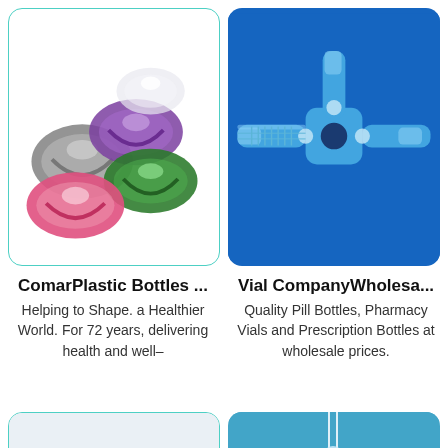[Figure (photo): Multiple silicone oxygen masks in gray, purple, pink, and green colors on white background]
[Figure (photo): Blue medical stopcock / IV valve connector component on blue background]
ComarPlastic Bottles ...
Helping to Shape. a Healthier World. For 72 years, delivering health and well–
Vial CompanyWholesa...
Quality Pill Bottles, Pharmacy Vials and Prescription Bottles at wholesale prices.
[Figure (photo): Partial view of blue rubber stopper / vial cap on light gray background]
[Figure (photo): Partial view of medical needle/catheter on blue background]
Get a Quote
Chat Now